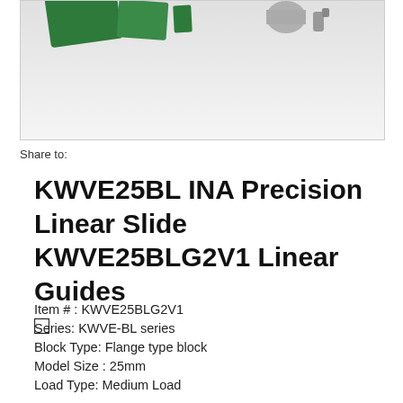[Figure (photo): Product photo showing green and gray linear guide components on a light gray/white background]
Share to:
KWVE25BL INA Precision Linear Slide KWVE25BLG2V1 Linear Guides □
Item # : KWVE25BLG2V1
Series: KWVE-BL series
Block Type: Flange type block
Model Size : 25mm
Load Type: Medium Load